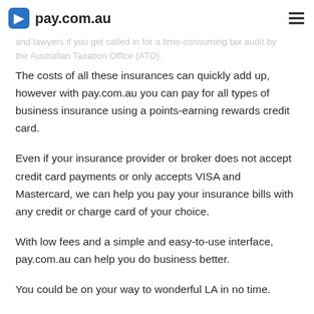pay.com.au
business to a halt and covering you with help from accountants and lawyers if you get called in for a time-consuming tax audit by the Australian Taxation Office (ATO).
The costs of all these insurances can quickly add up, however with pay.com.au you can pay for all types of business insurance using a points-earning rewards credit card.
Even if your insurance provider or broker does not accept credit card payments or only accepts VISA and Mastercard, we can help you pay your insurance bills with any credit or charge card of your choice.
With low fees and a simple and easy-to-use interface, pay.com.au can help you do business better.
You could be on your way to wonderful LA in no time.